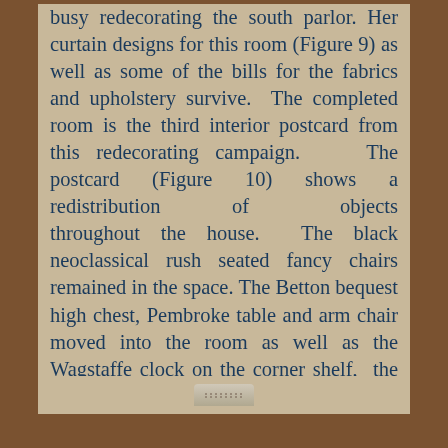busy redecorating the south parlor. Her curtain designs for this room (Figure 9) as well as some of the bills for the fabrics and upholstery survive. The completed room is the third interior postcard from this redecorating campaign. The postcard (Figure 10) shows a redistribution of objects throughout the house. The black neoclassical rush seated fancy chairs remained in the space. The Betton bequest high chest, Pembroke table and arm chair moved into the room as well as the Wagstaffe clock on the corner shelf, the portrait of Algernon Sydney Logan (1788-1835) and a loaned porcelain charger.